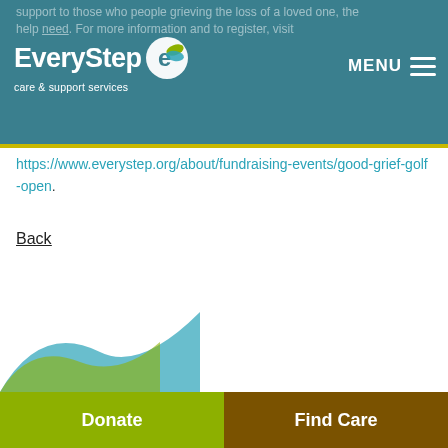EveryStep care & support services — MENU
support to those who people grieving the loss of a loved one, the help and need. For more information and to register, visit https://www.everystep.org/about/fundraising-events/good-grief-golf-open.
Back
Donate | Find Care